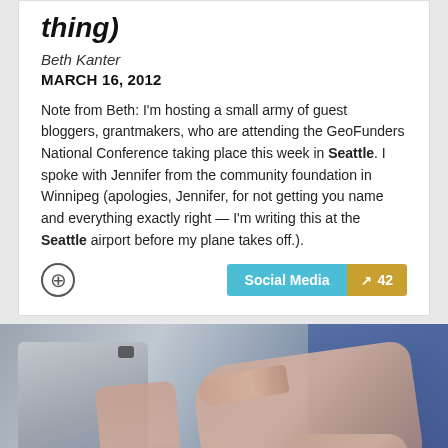thing)
Beth Kanter
MARCH 16, 2012
Note from Beth: I'm hosting a small army of guest bloggers, grantmakers, who are attending the GeoFunders National Conference taking place this week in Seattle. I spoke with Jennifer from the community foundation in Winnipeg (apologies, Jennifer, for not getting you name and everything exactly right — I'm writing this at the Seattle airport before my plane takes off.).
[Figure (other): Two people at a laptop, one pointing with a finger, blurred photo background]